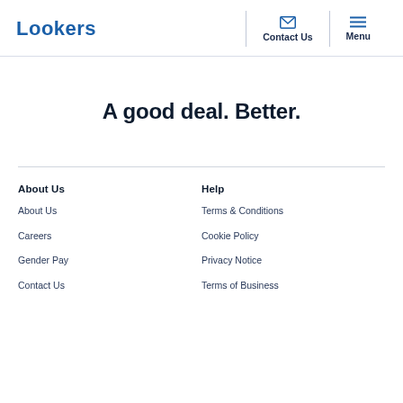Lookers | Contact Us | Menu
A good deal. Better.
About Us
About Us
Careers
Gender Pay
Contact Us
Help
Terms & Conditions
Cookie Policy
Privacy Notice
Terms of Business